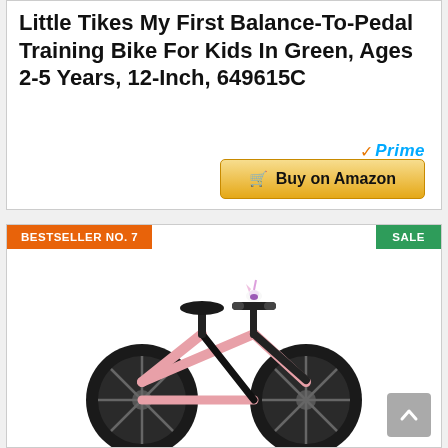Little Tikes My First Balance-To-Pedal Training Bike For Kids In Green, Ages 2-5 Years, 12-Inch, 649615C
[Figure (screenshot): Amazon Prime logo with orange checkmark and blue italic 'Prime' text, and a gold 'Buy on Amazon' button with shopping cart icon]
BESTSELLER NO. 7
SALE
[Figure (photo): A pink and black children's balance bike with black rubber wheels, black handlebars with a small unicorn figurine on top, and a black seat, photographed on a white background.]